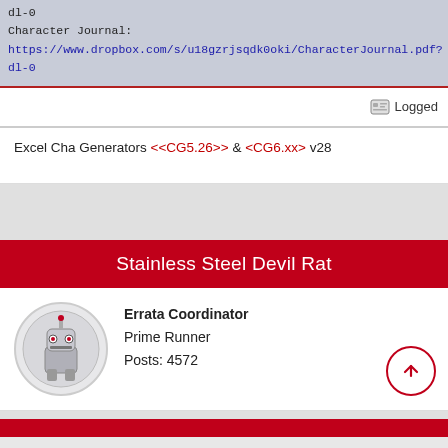dl-0
Character Journal:
https://www.dropbox.com/s/u18gzrjsqdk0oki/CharacterJournal.pdf?dl-0
Logged
Excel Cha Generators <<CG5.26>> & <CG6.xx> v28
Stainless Steel Devil Rat
Errata Coordinator
Prime Runner
Posts: 4572
[Figure (illustration): Circular avatar image of a robot/mech character (steel devil rat mascot)]